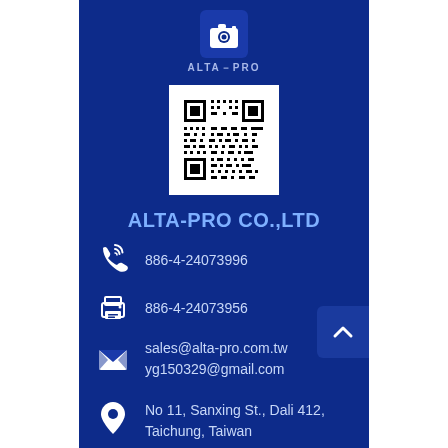[Figure (logo): Alta-Pro logo: white stylized figure with camera on dark blue background, text ALTA-PRO below]
[Figure (other): QR code on white background]
ALTA-PRO CO.,LTD
886-4-24073996
886-4-24073956
sales@alta-pro.com.tw
yg150329@gmail.com
No 11, Sanxing St., Dali 412, Taichung, Taiwan